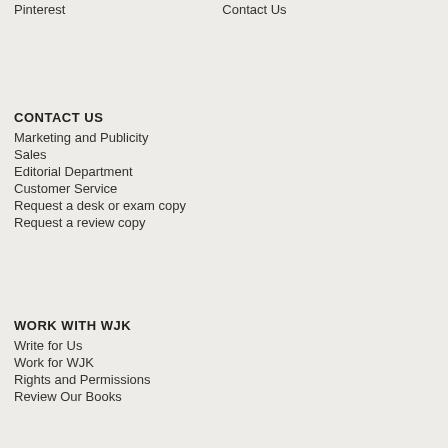Pinterest
Contact Us
CONTACT US
Marketing and Publicity
Sales
Editorial Department
Customer Service
Request a desk or exam copy
Request a review copy
WORK WITH WJK
Write for Us
Work for WJK
Rights and Permissions
Review Our Books